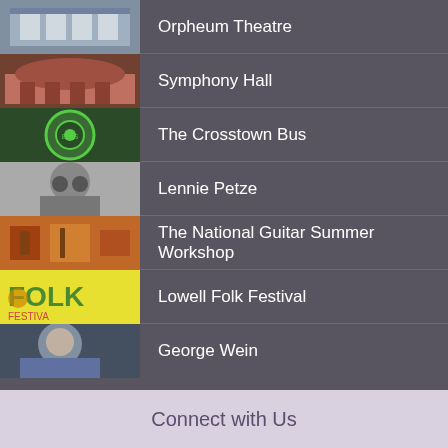Orpheum Theatre
Symphony Hall
The Crosstown Bus
Lennie Petze
The National Guitar Summer Workshop
Lowell Folk Festival
George Wein
Connect with Us